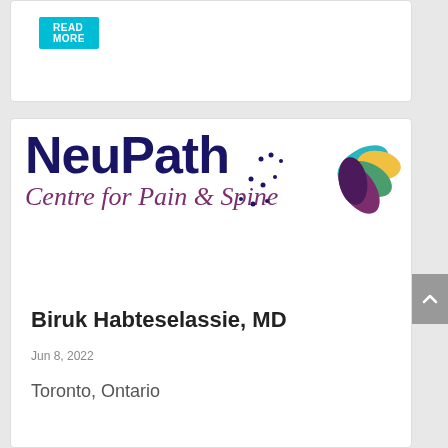[Figure (logo): READ MORE button (cyan) at top of page, partial card]
[Figure (logo): NeuPath Centre for Pain & Spine logo with colorful leaf/petal graphic and decorative dots]
Biruk Habteselassie, MD
Jun 8, 2022
Toronto, Ontario
READ MORE